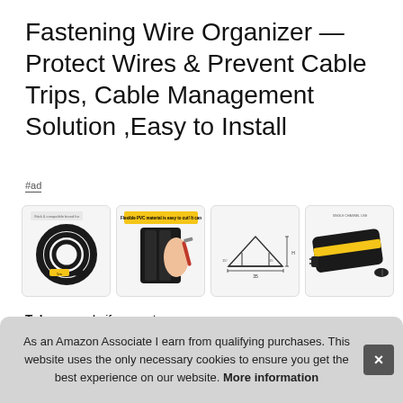Fastening Wire Organizer — Protect Wires & Prevent Cable Trips, Cable Management Solution ,Easy to Install
#ad
[Figure (photo): Four product images showing cable management organizer: coiled black cable organizer, hand cutting black cable duct with knife, technical cross-section diagram, and black/yellow cable cover with plug]
Txb... knife... exte... peo... by accident.
As an Amazon Associate I earn from qualifying purchases. This website uses the only necessary cookies to ensure you get the best experience on our website. More information